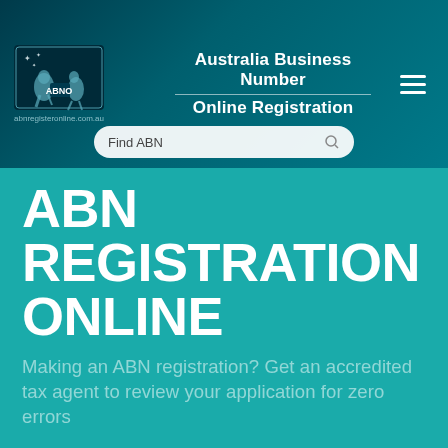[Figure (logo): ABNO logo — coat of arms style emblem with kangaroo and emu, text ABNO below, on dark teal background]
Australia Business Number Online Registration
abnregisteronline.com.au
Find ABN
ABN REGISTRATION ONLINE
Making an ABN registration? Get an accredited tax agent to review your application for zero errors